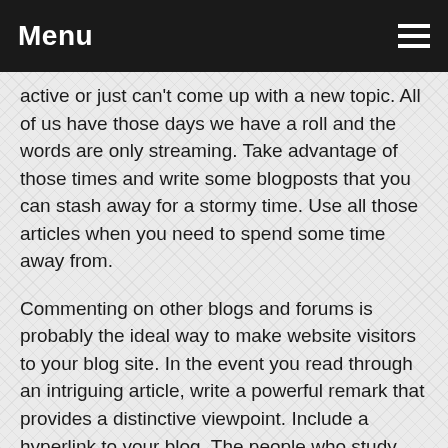Menu
active or just can't come up with a new topic. All of us have those days we have a roll and the words are only streaming. Take advantage of those times and write some blogposts that you can stash away for a stormy time. Use all those articles when you need to spend some time away from.
Commenting on other blogs and forums is probably the ideal way to make website visitors to your blog site. In the event you read through an intriguing article, write a powerful remark that provides a distinctive viewpoint. Include a hyperlink to your blog. The people who study your comment will almost certainly want to discover more of the things you must say, and definately will go to your blog.
Attempt to boost the enjoyment of the blog by developing templates for your personal blog sites. On many occasions,